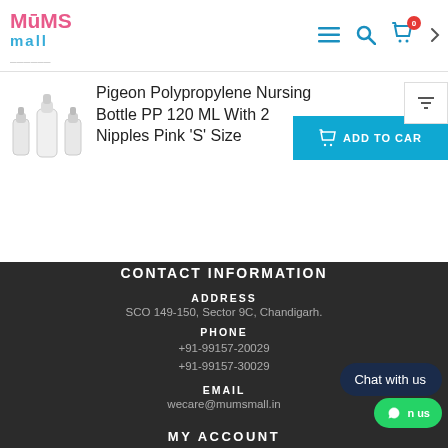Mums Mall — navigation header with logo, menu, search, cart (0)
Pigeon Polypropylene Nursing Bottle PP 120 ML With 2 Nipples Pink 'S' Size
[Figure (photo): Product image of Pigeon Nursing Bottle PP 120 ML, three white/pink bottles of varying sizes]
ADD TO CART
CONTACT INFORMATION
ADDRESS
SCO 149-150, Sector 9C, Chandigarh.
PHONE
+91-99157-20029
+91-99157-30029
EMAIL
wecare@mumsmall.in
MY ACCOUNT
Chat with us